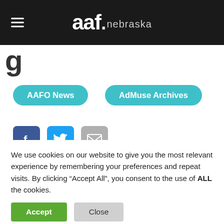aaf. nebraska
g
AAFO News
AdMuse Archives
[Figure (illustration): Social media icons: Facebook (blue square), Twitter (light blue square), Email/envelope (grey square)]
[Figure (illustration): Pink decorative band with repeating circle pattern]
We use cookies on our website to give you the most relevant experience by remembering your preferences and repeat visits. By clicking “Accept All”, you consent to the use of ALL the cookies.
Accept
Close